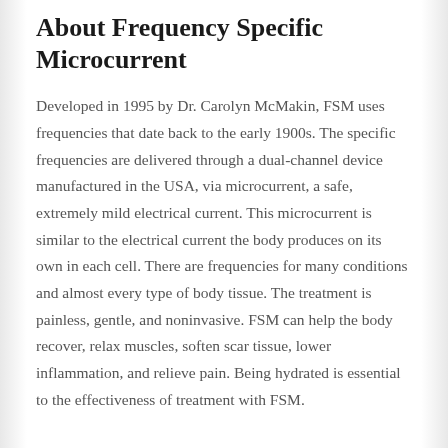About Frequency Specific Microcurrent
Developed in 1995 by Dr. Carolyn McMakin, FSM uses frequencies that date back to the early 1900s. The specific frequencies are delivered through a dual-channel device manufactured in the USA, via microcurrent, a safe, extremely mild electrical current. This microcurrent is similar to the electrical current the body produces on its own in each cell. There are frequencies for many conditions and almost every type of body tissue. The treatment is painless, gentle, and noninvasive. FSM can help the body recover, relax muscles, soften scar tissue, lower inflammation, and relieve pain. Being hydrated is essential to the effectiveness of treatment with FSM.